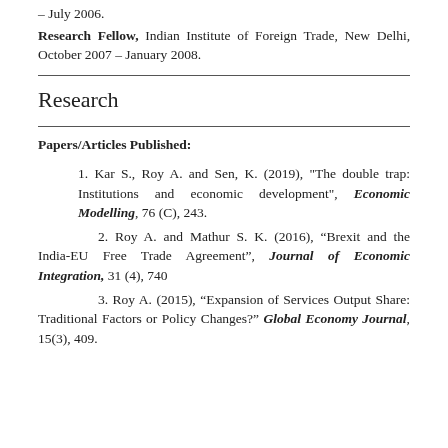– July 2006.
Research Fellow, Indian Institute of Foreign Trade, New Delhi, October 2007 – January 2008.
Research
Papers/Articles Published:
1. Kar S., Roy A. and Sen, K. (2019), "The double trap: Institutions and economic development", Economic Modelling, 76 (C), 243.
2. Roy A. and Mathur S. K. (2016), “Brexit and the India-EU Free Trade Agreement”, Journal of Economic Integration, 31 (4), 740
3. Roy A. (2015), “Expansion of Services Output Share: Traditional Factors or Policy Changes?” Global Economy Journal, 15(3), 409.